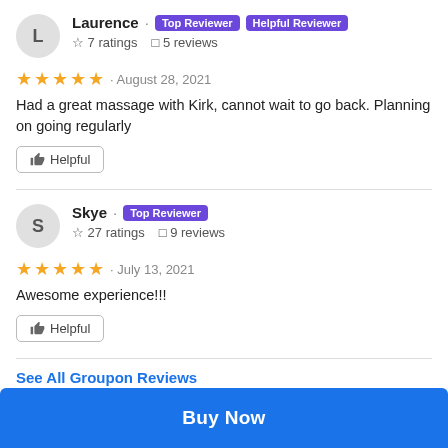Laurence · Top Reviewer · Helpful Reviewer · ☆ 7 ratings · 5 reviews
★★★★★ · August 28, 2021
Had a great massage with Kirk, cannot wait to go back. Planning on going regularly
👍 Helpful
Skye · Top Reviewer · ☆ 27 ratings · 9 reviews
★★★★★ · July 13, 2021
Awesome experience!!!
👍 Helpful
See All Groupon Reviews
Buy Now